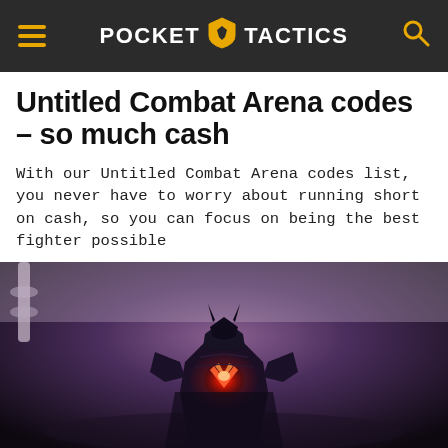POCKET TACTICS
Untitled Combat Arena codes – so much cash
With our Untitled Combat Arena codes list, you never have to worry about running short on cash, so you can focus on being the best fighter possible
[Figure (photo): Dark armored fantasy/game character with glowing red chest emblem, viewed from slightly below, in a dark purple and black environment resembling a combat arena setting]